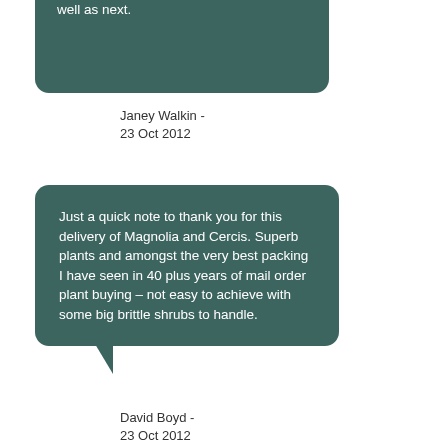well as next.
Janey Walkin -
23 Oct 2012
Just a quick note to thank you for this delivery of Magnolia and Cercis. Superb plants and amongst the very best packing I have seen in 40 plus years of mail order plant buying – not easy to achieve with some big brittle shrubs to handle.
David Boyd -
23 Oct 2012